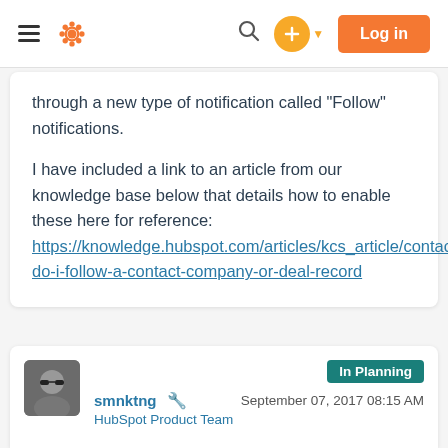HubSpot navigation bar with hamburger menu, HubSpot logo, search icon, plus button, and Log in button
through a new type of notification called "Follow" notifications.

I have included a link to an article from our knowledge base below that details how to enable these here for reference: https://knowledge.hubspot.com/articles/kcs_article/contacts/how-do-i-follow-a-contact-company-or-deal-record
smnktng HubSpot Product Team — In Planning — September 07, 2017 08:15 AM